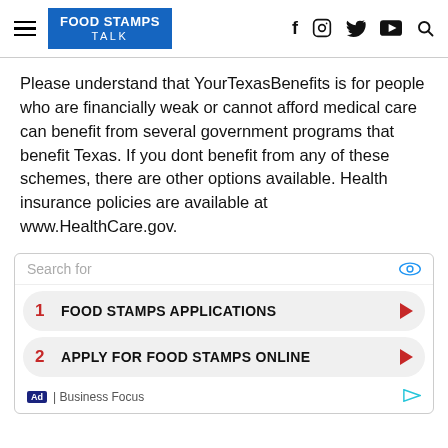FOOD STAMPS TALK
Please understand that YourTexasBenefits is for people who are financially weak or cannot afford medical care can benefit from several government programs that benefit Texas. If you dont benefit from any of these schemes, there are other options available. Health insurance policies are available at www.HealthCare.gov.
[Figure (screenshot): Advertisement widget with search bar, two entries: 1. FOOD STAMPS APPLICATIONS, 2. APPLY FOR FOOD STAMPS ONLINE, footer showing Ad | Business Focus]